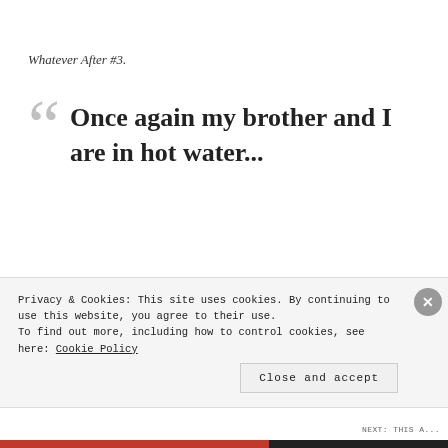Whatever After #3.
Once again my brother and I are in hot water...
We weren't planning to mess up the fairy tales. The first two
Privacy & Cookies: This site uses cookies. By continuing to use this website, you agree to their use.
To find out more, including how to control cookies, see here: Cookie Policy
Close and accept